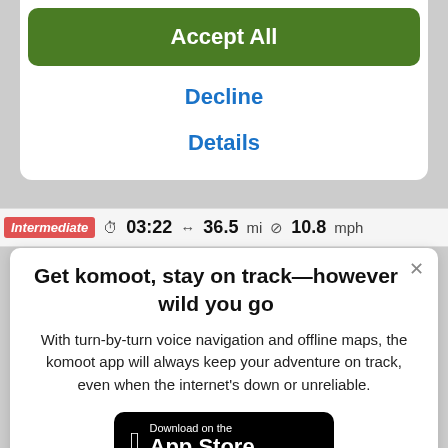Accept All
Decline
Details
Intermediate  03:22  36.5 mi  10.8 mph
Get komoot, stay on track—however wild you go
With turn-by-turn voice navigation and offline maps, the komoot app will always keep your adventure on track, even when the internet's down or unreliable.
[Figure (other): Download on the App Store button (black rounded rectangle with Apple logo)]